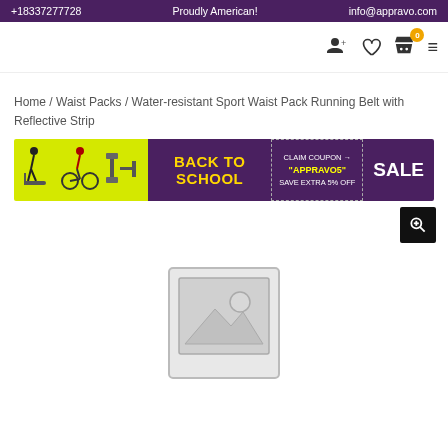+18337277728   Proudly American!   info@appravo.com
[Figure (screenshot): Navigation bar with user icon, heart/wishlist icon, shopping cart with badge '0', and hamburger menu]
Home / Waist Packs / Water-resistant Sport Waist Pack Running Belt with Reflective Strip
[Figure (infographic): Back to School Sale banner: yellow section with exercise equipment silhouettes, purple section with 'BACK TO SCHOOL' in gold text, dashed coupon box with 'CLAIM COUPON APPRAVO5 SAVE EXTRA 5% OFF', and SALE text]
[Figure (other): Black zoom/magnify button with plus-magnifier icon]
[Figure (photo): Product image placeholder showing standard image-not-available grey frame with mountain and sun icon]